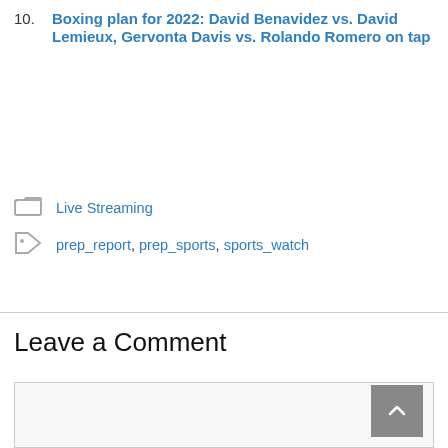10. Boxing plan for 2022: David Benavidez vs. David Lemieux, Gervonta Davis vs. Rolando Romero on tap
Live Streaming
prep_report, prep_sports, sports_watch
Leave a Comment